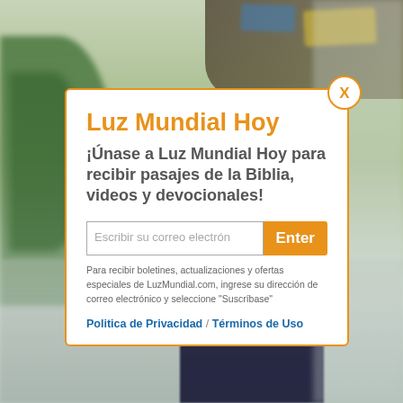[Figure (photo): Blurred outdoor park/amusement area background with trees on left, colorful signs top right, and a person in light blue top and dark skirt at bottom center.]
Luz Mundial Hoy
¡Únase a Luz Mundial Hoy para recibir pasajes de la Biblia, videos y devocionales!
Escribir su correo electrón  [Enter]
Para recibir boletines, actualizaciones y ofertas especiales de LuzMundial.com, ingrese su dirección de correo electrónico y seleccione "Suscríbase"
Politica de Privacidad / Términos de Uso